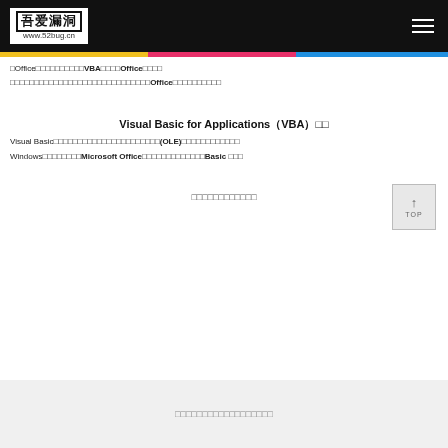吾爱漏洞 www.52bug.cn
□Office□□□□□□□□□□VBA□□□□Office□□□□
□□□□□□□□□□□□□□□□□□□□□□□□□□□□□Office□□□□□□□□□□
Visual Basic for Applications（VBA）□□
Visual Basic□□□□□□□□□□□□□□□□□□□□□□(OLE)□□□□□□□□□□□□
Windows□□□□□□□□Microsoft Office□□□□□□□□□□□□□Basic □□□
□□□□□□□□□□□□
□□□□□□□□□□□□□□□□□□